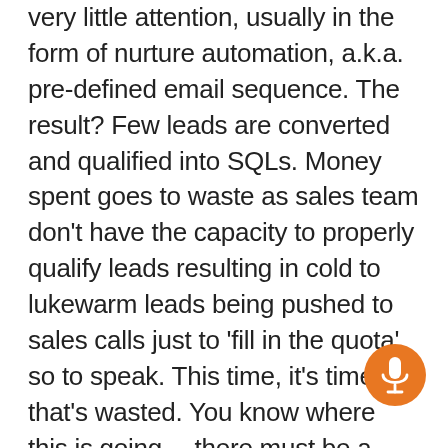very little attention, usually in the form of nurture automation, a.k.a. pre-defined email sequence. The result? Few leads are converted and qualified into SQLs. Money spent goes to waste as sales team don't have the capacity to properly qualify leads resulting in cold to lukewarm leads being pushed to sales calls just to 'fill in the quota', so to speak. This time, it's time that's wasted. You know where this is going... there must be a better way... Enter Exceed, intelligent AI that autonomously and automatically nurtures and qualifies leads. Exceed digs into your CRM and starts engaging leads in two-way conversations via email, website chat and text messages. The interactions are wholly conversational and personalized based on user and historical d... Once the AI qualifies a lead it independently books a sales call with the relevant sales rep and
[Figure (illustration): Orange circular microphone button in the bottom-right area of the page]